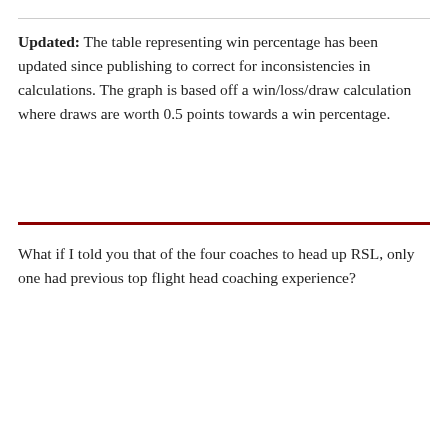Updated: The table representing win percentage has been updated since publishing to correct for inconsistencies in calculations. The graph is based off a win/loss/draw calculation where draws are worth 0.5 points towards a win percentage.
What if I told you that of the four coaches to head up RSL, only one had previous top flight head coaching experience?